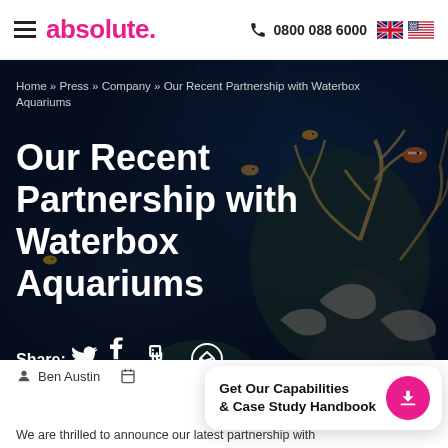absolute. | 0800 088 6000
Home » Press » Company » Our Recent Partnership with Waterbox Aquariums
Our Recent Partnership with Waterbox Aquariums
[Figure (photo): Underwater coral reef scene with fish and colorful corals on dark blue background]
Share: (Twitter) (Facebook) (LinkedIn) (Messenger)
Ben Austin
Get Our Capabilities & Case Study Handbook
We are thrilled to announce our latest partnership with